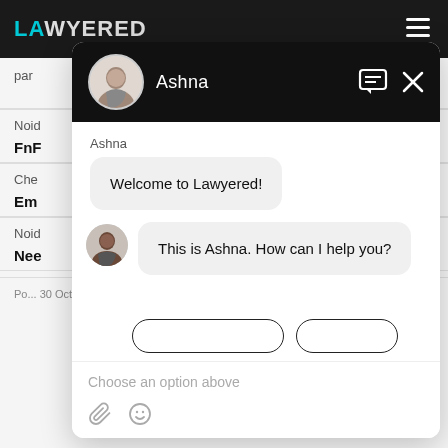[Figure (screenshot): Screenshot of Lawyered website with a chat widget open. The chat header shows agent 'Ashna' with her photo on a black background with close and message icons. The chat body shows two messages: 'Welcome to Lawyered!' in a grey bubble and 'This is Ashna. How can I help you?' with agent avatar. Below are partially visible option buttons, an input area with 'Choose an option above' placeholder text, and attachment/emoji icons at the bottom.]